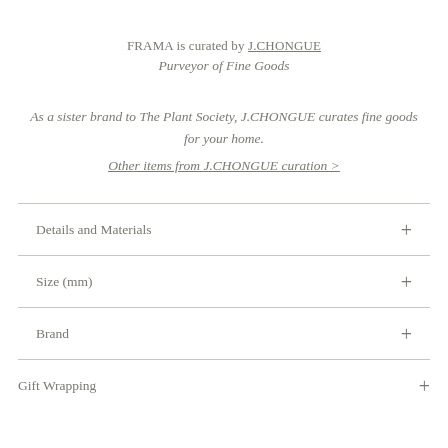FRAMA is curated by J.CHONGUE
Purveyor of Fine Goods
As a sister brand to The Plant Society, J.CHONGUE curates fine goods for your home.
Other items from J.CHONGUE curation >
Details and Materials
Size (mm)
Brand
Gift Wrapping